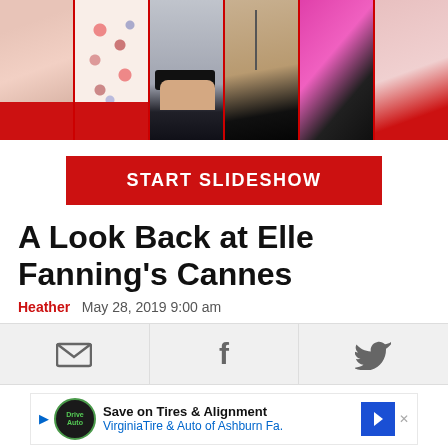[Figure (photo): A horizontal strip of six fashion/clothing panels showing various fabric close-ups including pink drape, floral print, dark pleated fabric with belt clip, tan/beige fabric with cord, hot pink fabric, and red/pink fabric]
START SLIDESHOW
A Look Back at Elle Fanning's Cannes
Heather   May 28, 2019 9:00 am
[Figure (infographic): Social sharing bar with email envelope icon, Facebook f icon, and Twitter bird icon]
[Figure (infographic): Advertisement: Save on Tires & Alignment - Virginia Tire & Auto of Ashburn Fa. with logo and arrow button]
Elle a...t be